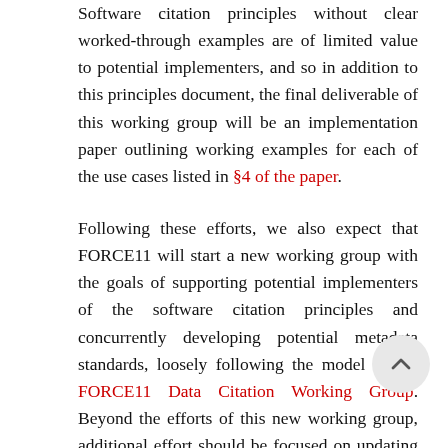Software citation principles without clear worked-through examples are of limited value to potential implementers, and so in addition to this principles document, the final deliverable of this working group will be an implementation paper outlining working examples for each of the use cases listed in §4 of the paper.
Following these efforts, we also expect that FORCE11 will start a new working group with the goals of supporting potential implementers of the software citation principles and concurrently developing potential metadata standards, loosely following the model of the FORCE11 Data Citation Working Group. Beyond the efforts of this new working group, additional effort should be focused on updating the overall academic credit/citation system.